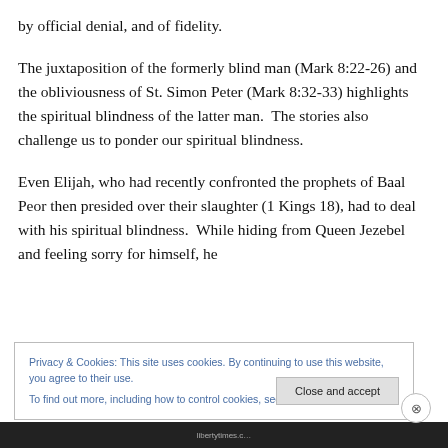by official denial, and of fidelity.
The juxtaposition of the formerly blind man (Mark 8:22-26) and the obliviousness of St. Simon Peter (Mark 8:32-33) highlights the spiritual blindness of the latter man.  The stories also challenge us to ponder our spiritual blindness.
Even Elijah, who had recently confronted the prophets of Baal Peor then presided over their slaughter (1 Kings 18), had to deal with his spiritual blindness.  While hiding from Queen Jezebel and feeling sorry for himself, he
Privacy & Cookies: This site uses cookies. By continuing to use this website, you agree to their use.
To find out more, including how to control cookies, see here: Cookie Policy